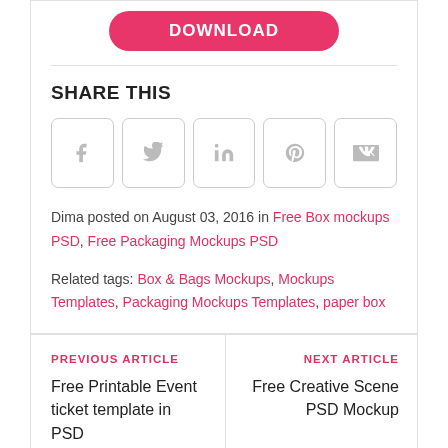[Figure (other): Download button (pink/red pill-shaped button with 'Download' text)]
SHARE THIS
[Figure (other): Social share buttons: Facebook (f), Twitter (bird), LinkedIn (in), Pinterest (p), VK (vk) — five square icon buttons with rounded corners]
Dima posted on August 03, 2016 in Free Box mockups PSD, Free Packaging Mockups PSD
Related tags: Box & Bags Mockups, Mockups Templates, Packaging Mockups Templates, paper box
PREVIOUS ARTICLE
Free Printable Event ticket template in PSD
NEXT ARTICLE
Free Creative Scene PSD Mockup
LATEST NEWS